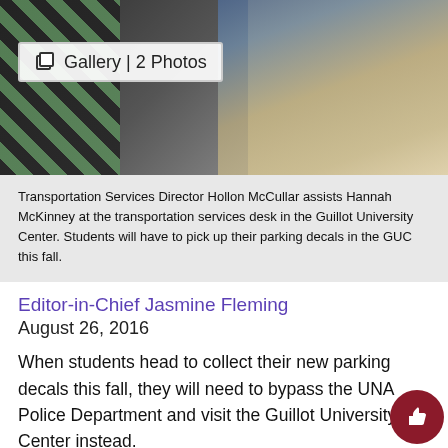[Figure (photo): Photo of transportation services desk area with a gallery badge overlay showing '2 Photos']
Transportation Services Director Hollon McCullar assists Hannah McKinney at the transportation services desk in the Guillot University Center. Students will have to pick up their parking decals in the GUC this fall.
Editor-in-Chief Jasmine Fleming
August 26, 2016
When students head to collect their new parking decals this fall, they will need to bypass the UNA Police Department and visit the Guillot University Center instead.
Transportation Services will now be on the first floor of the GUC at the desk next to the eleva and Einstein's Brothers Bagels, and the office is